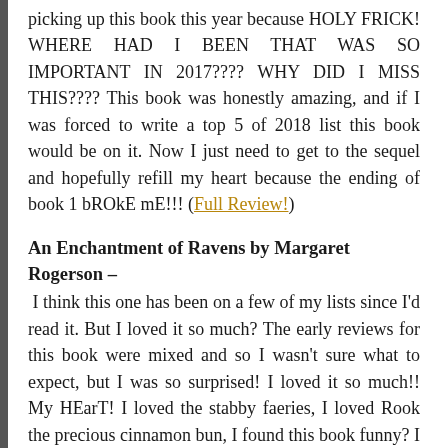picking up this book this year because HOLY FRICK! WHERE HAD I BEEN THAT WAS SO IMPORTANT IN 2017???? WHY DID I MISS THIS???? This book was honestly amazing, and if I was forced to write a top 5 of 2018 list this book would be on it. Now I just need to get to the sequel and hopefully refill my heart because the ending of book 1 bROkE mE!!! (Full Review!)
An Enchantment of Ravens by Margaret Rogerson –
I think this one has been on a few of my lists since I'd read it. But I loved it so much? The early reviews for this book were mixed and so I wasn't sure what to expect, but I was so surprised! I loved it so much!! My HEarT! I loved the stabby faeries, I loved Rook the precious cinnamon bun, I found this book funny? I found myself giggling and smiling like a doof quite a lot. I can't wait for further works by this author! (Full